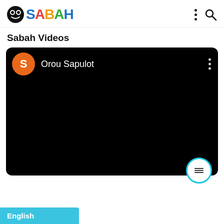[Figure (logo): Sabah app logo with cartoon character icon and colorful SABAH text]
Sabah Videos
[Figure (screenshot): Video player card with black background showing channel avatar (orange circle with S) and channel name 'Orou Sapulot' with three-dot menu, floating action button with menu icon at bottom right]
English